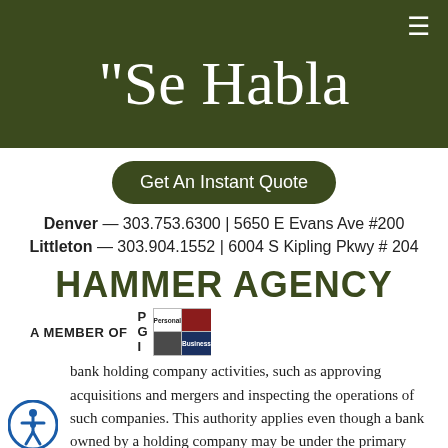"Se Habla
Get An Instant Quote
Denver — 303.753.6300 | 5650 E Evans Ave #200
Littleton — 303.904.1552 | 6004 S Kipling Pkwy # 204
HAMMER AGENCY
A MEMBER OF PGI [logo]
bank holding company activities, such as approving acquisitions and mergers and inspecting the operations of such companies. This authority applies even though a bank owned by a holding company may be under the primary supervision of the Comptroller of the